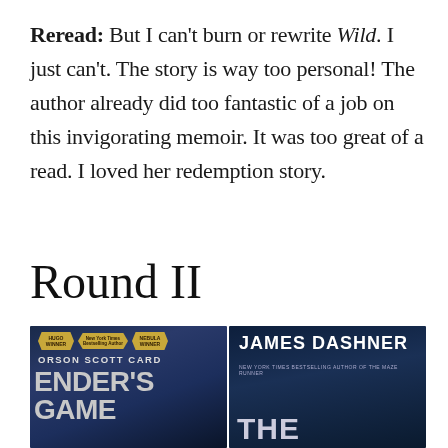Reread: But I can't burn or rewrite Wild. I just can't. The story is way too personal! The author already did too fantastic of a job on this invigorating memoir. It was too great of a read. I loved her redemption story.
Round II
[Figure (photo): Two book covers side by side. Left: Ender's Game by Orson Scott Card with Hugo Winner and Nebula Winner badges and a New York Times Bestselling Author badge, dark blue sci-fi cover. Right: A James Dashner book (The Maze Runner series), with white title text 'THE' visible at the bottom, dark blue/grey industrial cover.]